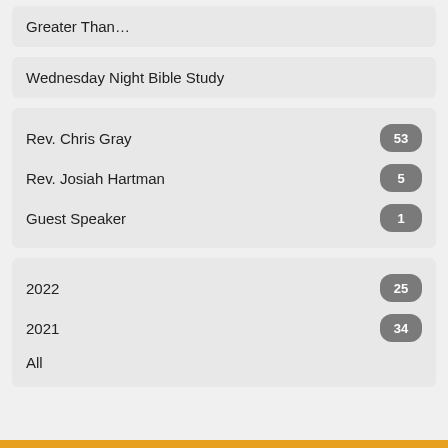Greater Than...
Wednesday Night Bible Study
Rev. Chris Gray — 53
Rev. Josiah Hartman — 5
Guest Speaker — 1
2022 — 25
2021 — 34
All